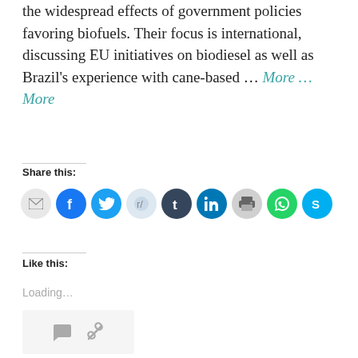the widespread effects of government policies favoring biofuels. Their focus is international, discussing EU initiatives on biodiesel as well as Brazil's experience with cane-based … More … More
Share this:
[Figure (infographic): Row of 9 circular social share icons: email (grey), Facebook (blue), Twitter (light blue), Reddit (light blue/grey), Tumblr (dark navy), LinkedIn (dark blue), Print (grey), WhatsApp (green), Skype (light blue)]
Like this:
Loading...
[Figure (infographic): A small grey card with a speech bubble icon and a link/chain icon]